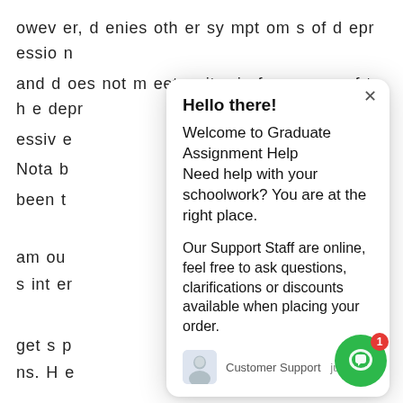owever, denies other symptoms of depression and does not meet criteria for any of the depressive
Nota b... been t... am ou... s inter...
get s p... ns. He... d ose... d...
nificant impairment or distress, Mr. Irvin meets criteria for a benzodiazepine use er. Given his history of use and his tendency
[Figure (screenshot): Chat popup widget from Graduate Assignment Help. Contains greeting 'Hello there!', welcome message 'Welcome to Graduate Assignment Help Need help with your schoolwork? You are at the right place.', support message 'Our Support Staff are online, feel free to ask questions, clarifications or discounts available when placing your order.', footer with avatar icon, 'Customer Support' label and 'just now' timestamp. A green chat button with badge '1' is in the bottom right corner.]